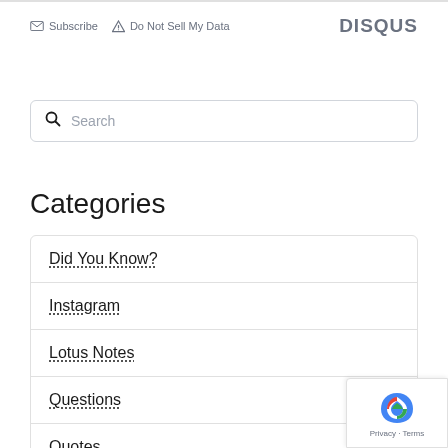Subscribe  Do Not Sell My Data  DISQUS
[Figure (screenshot): Search input box with magnifying glass icon and placeholder text 'Search']
Categories
Did You Know?
Instagram
Lotus Notes
Questions
Quotes